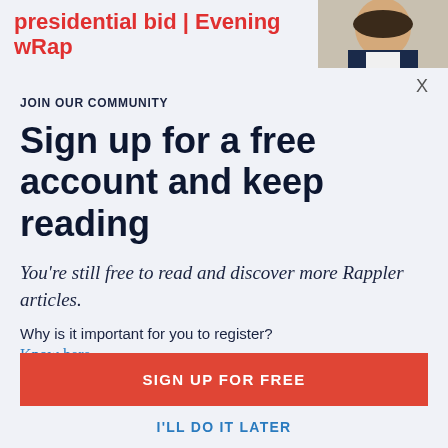presidential bid | Evening wRap
X
JOIN OUR COMMUNITY
Sign up for a free account and keep reading
You're still free to read and discover more Rappler articles.
Why is it important for you to register?
Know here.
SIGN UP FOR FREE
I'LL DO IT LATER